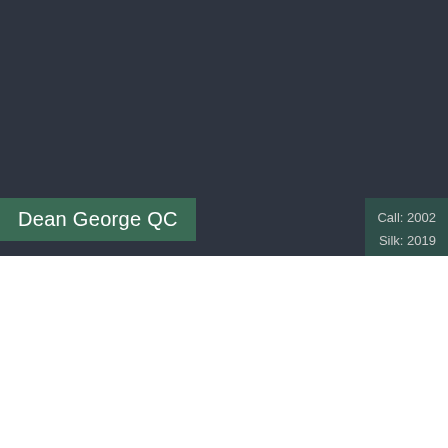[Figure (photo): Dark background header area showing a barrister profile page with name badge and call/silk information]
Dean George QC
Call: 2002
Silk: 2019
We use cookies on our website to give you the most relevant experience by remembering your preferences and repeat visits. By clicking “ACCEPT ALL”, you consent to the use of ALL the cookies. However, you may visit “Cookie Settings” to provide a controlled consent.
Cookie Settings
REJECT ALL
ACCEPT ALL